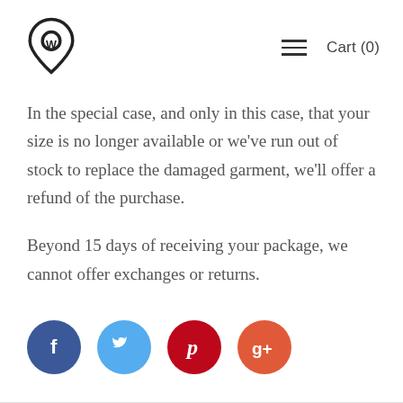Cart (0)
In the special case, and only in this case, that your size is no longer available or we've run out of stock to replace the damaged garment, we'll offer a refund of the purchase.
Beyond 15 days of receiving your package, we cannot offer exchanges or returns.
[Figure (other): Social media share buttons: Facebook, Twitter, Pinterest, Google+]